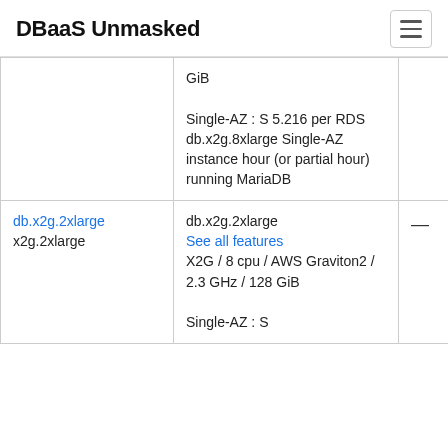DBaaS Unmasked
| Instance | Details | Price |
| --- | --- | --- |
|  | GiB

Single-AZ : S 5.216 per RDS db.x2g.8xlarge Single-AZ instance hour (or partial hour) running MariaDB |  |
| db.x2g.2xlarge x2g.2xlarge | db.x2g.2xlarge
See all features
X2G / 8 cpu / AWS Graviton2 / 2.3 GHz / 128 GiB

Single-AZ : S... | — |